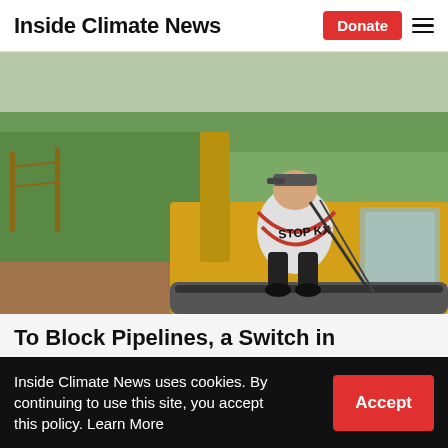Inside Climate News
[Figure (photo): A protest activist chained to a yellow construction bulldozer, wearing a sign that reads 'STOP KXL', sitting on the machine arm with red rope binding them, green vegetation and construction equipment in background.]
To Block Pipelines, a Switch in Strategies
By Katherine Bagley
Inside Climate News uses cookies. By continuing to use this site, you accept this policy. Learn More